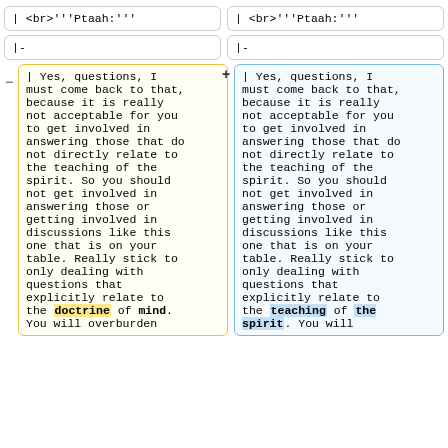| | <br>'''Ptaah:''' | | <br>'''Ptaah:''' |
| |- | |- |
| | Yes, questions, I must come back to that, because it is really not acceptable for you to get involved in answering those that do not directly relate to the teaching of the spirit. So you should not get involved in answering those or getting involved in discussions like this one that is on your table. Really stick to only dealing with questions that explicitly relate to the doctrine of mind. You will overburden | | Yes, questions, I must come back to that, because it is really not acceptable for you to get involved in answering those that do not directly relate to the teaching of the spirit. So you should not get involved in answering those or getting involved in discussions like this one that is on your table. Really stick to only dealing with questions that explicitly relate to the teaching of the spirit. You will |